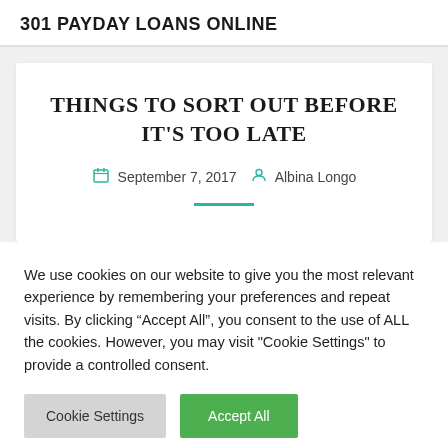301 PAYDAY LOANS ONLINE
THINGS TO SORT OUT BEFORE IT'S TOO LATE
September 7, 2017  Albina Longo
We use cookies on our website to give you the most relevant experience by remembering your preferences and repeat visits. By clicking “Accept All”, you consent to the use of ALL the cookies. However, you may visit "Cookie Settings" to provide a controlled consent.